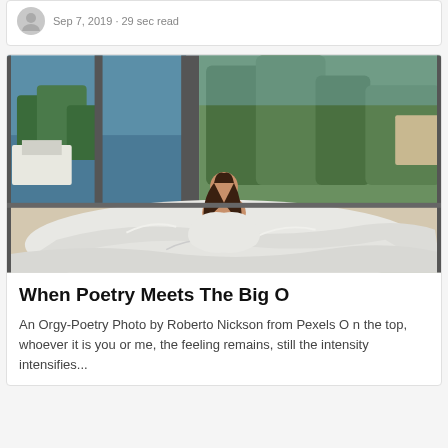Sep 7, 2019 · 29 sec read
[Figure (photo): A woman sitting up in a bed with rumpled white sheets, looking out through large floor-to-ceiling windows at a coastal landscape with green trees and sea in the background.]
When Poetry Meets The Big O
An Orgy-Poetry Photo by Roberto Nickson from Pexels O n the top, whoever it is you or me, the feeling remains, still the intensity intensifies...